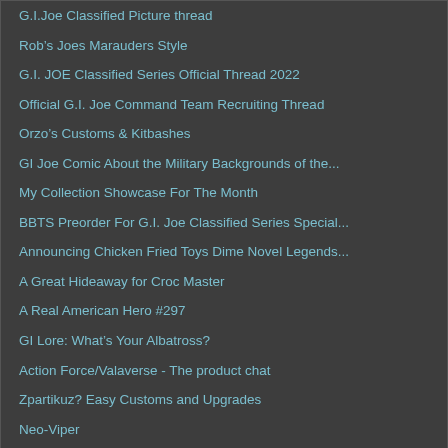G.I.Joe Classified Picture thread
Robâs Joes Marauders Style
G.I. JOE Classified Series Official Thread 2022
Official G.I. Joe Command Team Recruiting Thread
Orzoâs Customs & Kitbashes
GI Joe Comic About the Military Backgrounds of the...
My Collection Showcase For The Month
BBTS Preorder For G.I. Joe Classified Series Special...
Announcing Chicken Fried Toys Dime Novel Legends...
A Great Hideaway for Croc Master
A Real American Hero #297
GI Lore: What’s Your Albatross?
Action Force/Valaverse - The product chat
Zpartikuz? Easy Customs and Upgrades
Neo-Viper
Longarm
Scruffyronin Illustrations
RECENT OFF TOPIC THREADS